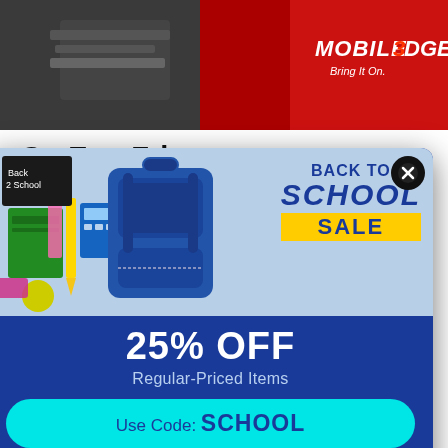[Figure (photo): Header image: dark background with red accent and Mobile Edge logo (brand with tagline 'Bring It On.')]
Go Eco-Frien... Best of Class...
03 APR
0 (comment count / view icons)
With social media and discourse, people thes... than ever before abou...
This website uses... Read about how w... more.
ACCEPT
[Figure (infographic): Back to School Sale popup ad with blue background, backpack image, school supplies, 25% OFF offer, Use Code: SCHOOL, SHOP NOW button, exclusions footnote]
25% OFF Regular-Priced Items Use Code: SCHOOL SHOP NOW *Exclusions apply. Plus free ground shipping on purchases over $75. Details